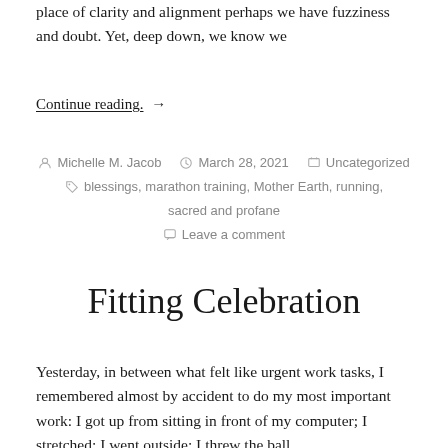place of clarity and alignment perhaps we have fuzziness and doubt. Yet, deep down, we know we
Continue reading. →
By Michelle M. Jacob  March 28, 2021  Uncategorized  blessings, marathon training, Mother Earth, running, sacred and profane  Leave a comment
Fitting Celebration
Yesterday, in between what felt like urgent work tasks, I remembered almost by accident to do my most important work: I got up from sitting in front of my computer; I stretched; I went outside; I threw the ball